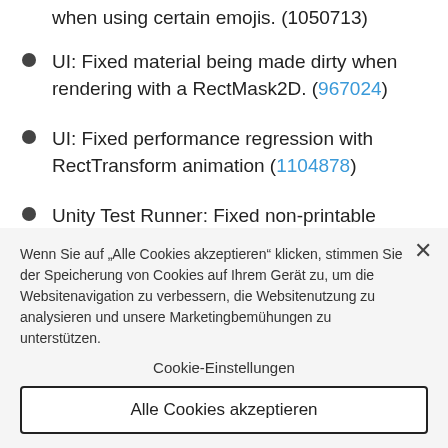when using certain emojis. (1050713)
UI: Fixed material being made dirty when rendering with a RectMask2D. (967024)
UI: Fixed performance regression with RectTransform animation (1104878)
Unity Test Runner: Fixed non-printable
Wenn Sie auf „Alle Cookies akzeptieren“ klicken, stimmen Sie der Speicherung von Cookies auf Ihrem Gerät zu, um die Websitenavigation zu verbessern, die Websitenutzung zu analysieren und unsere Marketingbemühungen zu unterstützen.
Cookie-Einstellungen
Alle Cookies akzeptieren